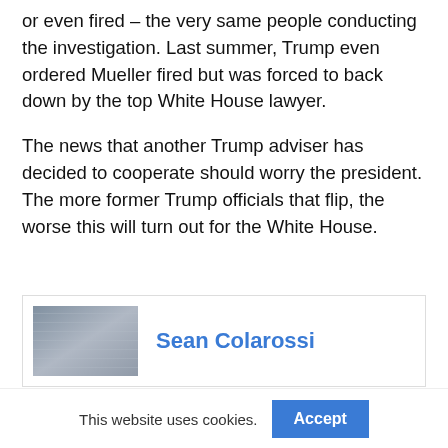or even fired – the very same people conducting the investigation. Last summer, Trump even ordered Mueller fired but was forced to back down by the top White House lawyer.
The news that another Trump adviser has decided to cooperate should worry the president. The more former Trump officials that flip, the worse this will turn out for the White House.
[Figure (photo): Author photo thumbnail for Sean Colarossi showing a blurred indoor scene]
Sean Colarossi
This website uses cookies.
Accept
[Figure (infographic): Social share bar with Twitter, Gmail, Pinterest, LinkedIn, WhatsApp, and LINE buttons]